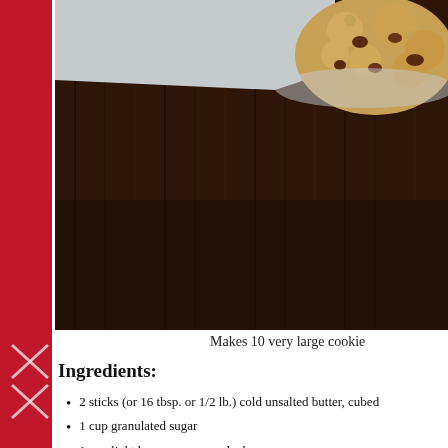[Figure (photo): Photo of chocolate chip cookies on a dark wood surface with a white plate/surface visible in the upper portion. Cookies are golden-brown with visible chocolate chunks, placed on a dark wood-grain background.]
Makes 10 very large cookie
Ingredients:
2 sticks (or 16 tbsp. or 1/2 lb.) cold unsalted butter, cubed
1 cup granulated sugar
1 cup light brown sugar, packed
2 eggs
1 tsp. vanilla extract
2 and 3/4 cup all purpose flour
1 tsp. salt